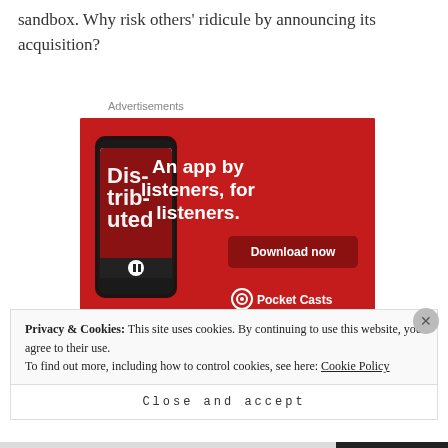sandbox. Why risk others' ridicule by announcing its acquisition?
Advertisements
[Figure (screenshot): Pocket Casts advertisement banner on red background showing a smartphone with the app open displaying 'Distributed' podcast. Text reads 'An app by listeners, for listeners.' with a 'Download now' button and Pocket Casts logo at bottom right.]
Privacy & Cookies: This site uses cookies. By continuing to use this website, you agree to their use. To find out more, including how to control cookies, see here: Cookie Policy
Close and accept